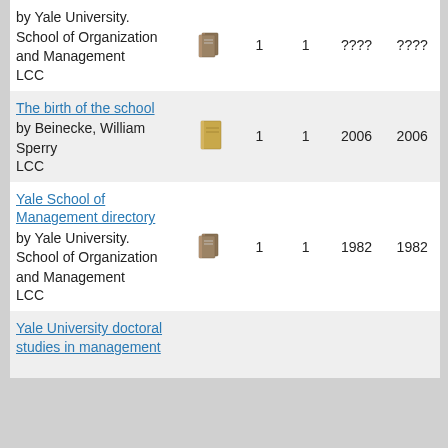| Title/Author/LCC | Type | Col1 | Col2 | Col3 | Col4 |
| --- | --- | --- | --- | --- | --- |
| by Yale University. School of Organization and Management LCC | [icon] | 1 | 1 | ???? | ???? |
| The birth of the school
by Beinecke, William Sperry LCC | [icon] | 1 | 1 | 2006 | 2006 |
| Yale School of Management directory
by Yale University. School of Organization and Management LCC | [icon] | 1 | 1 | 1982 | 1982 |
| Yale University doctoral studies in management... |  |  |  |  |  |